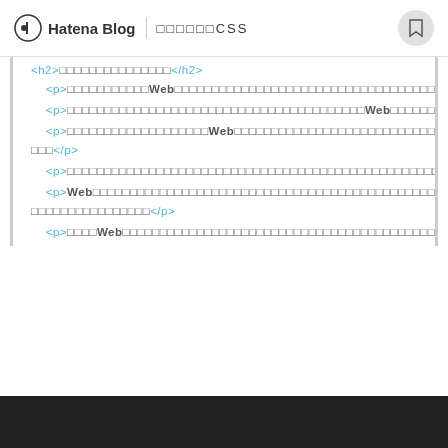Hatena Blog | CSS
<h2>□□□□□□□□□□□□□□□</h2>
<p>□□□□□□□□□□□WebWeb□□□□□□□□□□□□□□□□□□□□□□□□□□□□□□□□□□□□□□□□</p>
<p>□□□□□□□□□□□□□□□□□□□□□□□□Web□□□□□□□□□□□□□□</p>
<p>□□□□□□□□□□□□□□□□□□□Web□□□□□□□□□□□□□□□□□□□□□□□□□□□□□□□□□□□□□□□□□</p>
<p>□□□□□□□□□□□□□□□□□□□□□□□□□□□□□□□□□Web□□□□□□□□□□□□□□□□□</p>
<p>Web□□□□□□□□□□□□□□□□□□□□□□□□□□□□□□□□□□□□□□□</p>
<p>□□□□Web□□□□□□□□□□□□□□□□□□□□□□□□□□□□□□□□□□□□□□□□□□□□□